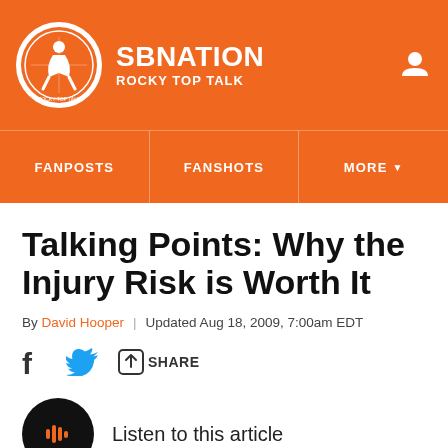[Figure (logo): SBNation Rocky Top Talk logo with orange circle and site name]
FANPOSTS | FANSHOTS | MORE
Talking Points: Why the Injury Risk is Worth It
By David Hooper | Updated Aug 18, 2009, 7:00am EDT
SHARE
Listen to this article